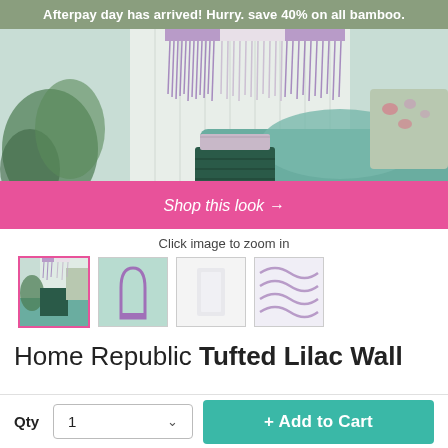Afterpay day has arrived! Hurry. save 40% on all bamboo.
[Figure (photo): Bedroom scene with teal/sage green bedding, purple and white macrame wall hanging, green plant on left, dark green ribbed nightstand with book on top, floral pillow visible on right. Pink 'Shop this look →' banner overlaid at bottom.]
Click image to zoom in
[Figure (photo): Four product thumbnail images: first selected (bedroom scene), second (lilac arch shape on mint background), third (white/pale product), fourth (purple wavy stripe pattern).]
Home Republic Tufted Lilac Wall
Qty  1   + Add to Cart